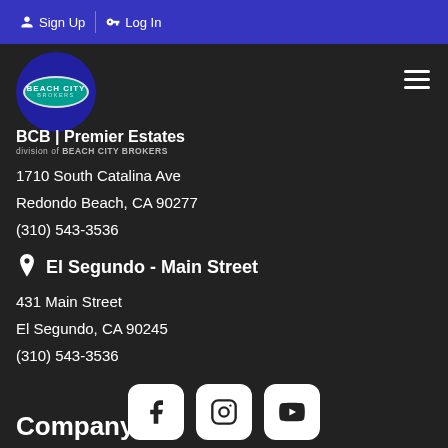Sign Up  Log In
[Figure (logo): Beach City Brokers logo with teal oval inside dark blue circle]
BCB | Premier Estates
division of BEACH CITY BROKERS
1710 South Catalina Ave
Redondo Beach, CA 90277
(310) 543-3536
El Segundo - Main Street
431 Main Street
El Segundo, CA 90245
(310) 543-3536
[Figure (illustration): Social media icons: Facebook, Instagram, YouTube]
Company